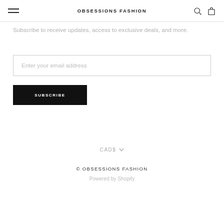OBSESSIONS FASHION
Subscribe to receive updates, access to exclusive deals, and more.
Enter your email address
SUBSCRIBE
CAD$
© OBSESSIONS FASHION
Powered by Shopify